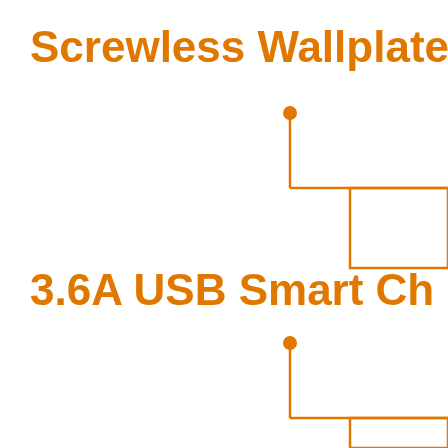[Figure (schematic): Partial view of a product label/diagram showing two callout lines with orange dot anchors pointing to product labels. Top: 'Screwless Wallplate I' (text truncated at right edge) with an L-shaped callout line going to a box outline at top-right. Bottom: '3.6A USB Smart Ch' (text truncated at right edge) with an L-shaped callout line going to a box outline at bottom-right. All elements are in orange on white background.]